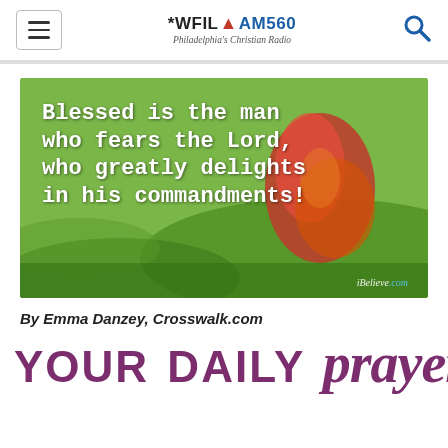WFIL AM560 Philadelphia's Christian Radio
[Figure (photo): Inspirational image with autumn leaf on green grass background with white text quote: 'Blessed is the man who fears the Lord, who greatly delights in his commandments!' with iBelieve.com credit]
By Emma Danzey, Crosswalk.com
YOUR DAILY prayer